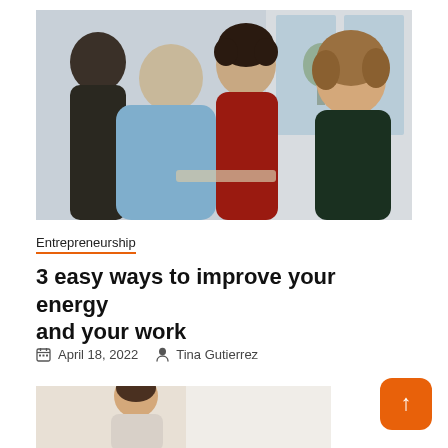[Figure (photo): Group of four people in an office setting having a conversation. A woman in a red shirt stands in the center smiling, another woman in a dark green top is at the right. Two men are seen from behind on the left.]
Entrepreneurship
3 easy ways to improve your energy and your work
April 18, 2022   Tina Gutierrez
[Figure (photo): Partially visible photo of a person in a bright office environment, cropped at the bottom of the page.]